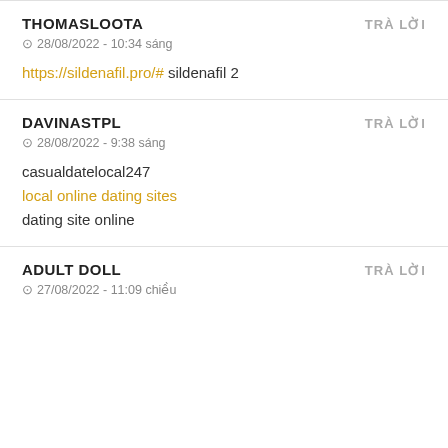THOMASLOOTA
TRÀ LỜI
28/08/2022 - 10:34 sáng
https://sildenafil.pro/# sildenafil 2
DAVINASTPL
TRÀ LỜI
28/08/2022 - 9:38 sáng
casualdatelocal247
local online dating sites
dating site online
ADULT DOLL
TRÀ LỜI
27/08/2022 - 11:09 chiều